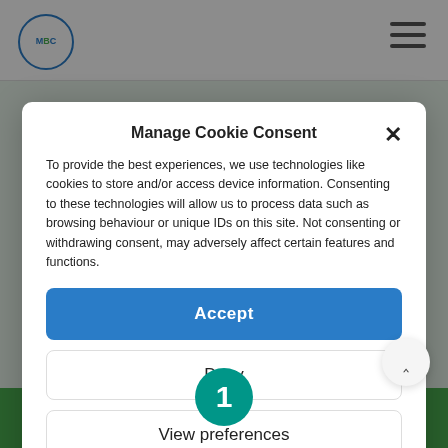[Figure (logo): MBC logo circle in top left corner]
[Figure (other): Hamburger menu icon (three horizontal lines) in top right corner]
Manage Cookie Consent
To provide the best experiences, we use technologies like cookies to store and/or access device information. Consenting to these technologies will allow us to process data such as browsing behaviour or unique IDs on this site. Not consenting or withdrawing consent, may adversely affect certain features and functions.
Accept
Deny
View preferences
Cookies Policy  Privacy Policy
[Figure (other): Scroll to top arrow button, circular grey button with upward chevron]
[Figure (other): Teal circle with number 1 at bottom center]